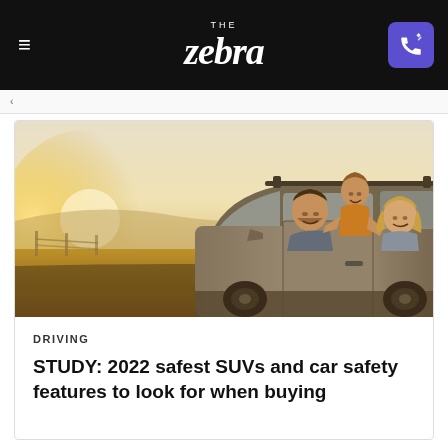THE zebra
[Figure (photo): A family with two adults and a young child leaning out of the windows of an SUV on a sunny day with countryside in the background. Warm golden-hour lighting.]
DRIVING
STUDY: 2022 safest SUVs and car safety features to look for when buying